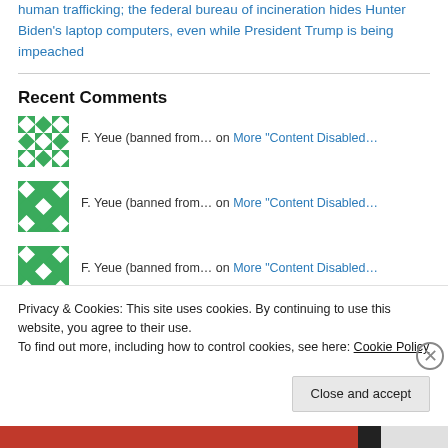human trafficking; the federal bureau of incineration hides Hunter Biden's laptop computers, even while President Trump is being impeached
Recent Comments
F. Yeue (banned from… on More "Content Disabled…
F. Yeue (banned from… on More "Content Disabled…
F. Yeue (banned from… on More "Content Disabled…
Privacy & Cookies: This site uses cookies. By continuing to use this website, you agree to their use. To find out more, including how to control cookies, see here: Cookie Policy